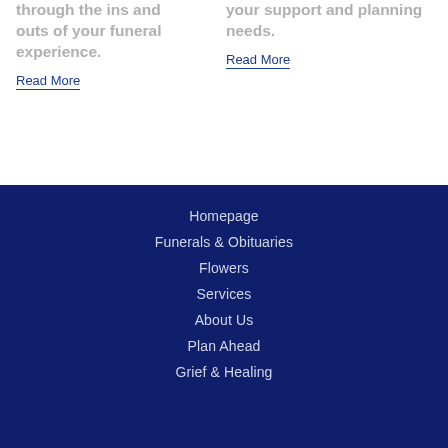through the ins and outs of your funeral experience.
Read More
your support and planning needs.
Read More
Homepage
Funerals & Obituaries
Flowers
Services
About Us
Plan Ahead
Grief & Healing